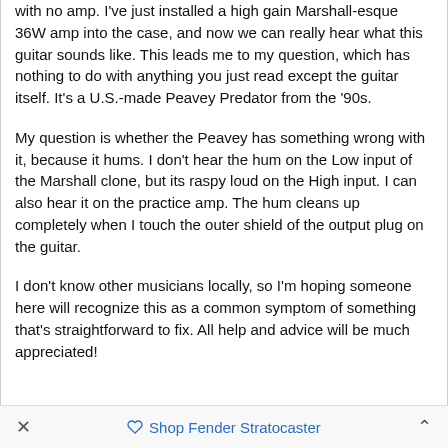with no amp. I've just installed a high gain Marshall-esque 36W amp into the case, and now we can really hear what this guitar sounds like. This leads me to my question, which has nothing to do with anything you just read except the guitar itself. It's a U.S.-made Peavey Predator from the '90s.
My question is whether the Peavey has something wrong with it, because it hums. I don't hear the hum on the Low input of the Marshall clone, but its raspy loud on the High input. I can also hear it on the practice amp. The hum cleans up completely when I touch the outer shield of the output plug on the guitar.
I don't know other musicians locally, so I'm hoping someone here will recognize this as a common symptom of something that's straightforward to fix. All help and advice will be much appreciated!
× Shop Fender Stratocaster ^